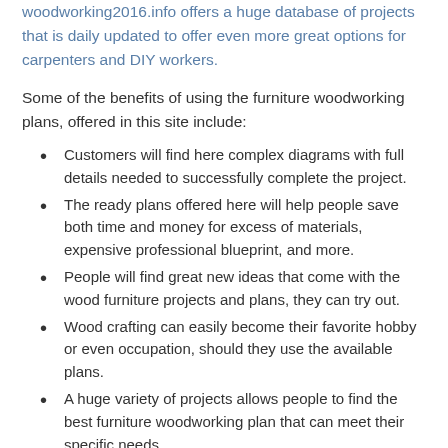woodworking2016.info offers a huge database of projects that is daily updated to offer even more great options for carpenters and DIY workers.
Some of the benefits of using the furniture woodworking plans, offered in this site include:
Customers will find here complex diagrams with full details needed to successfully complete the project.
The ready plans offered here will help people save both time and money for excess of materials, expensive professional blueprint, and more.
People will find great new ideas that come with the wood furniture projects and plans, they can try out.
Wood crafting can easily become their favorite hobby or even occupation, should they use the available plans.
A huge variety of projects allows people to find the best furniture woodworking plan that can meet their specific needs.